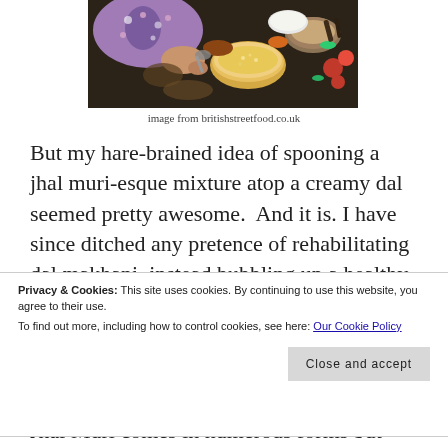[Figure (photo): Overhead view of a person in a floral top preparing street food, with spices, bowls, and ingredients on a dark surface]
image from britishstreetfood.co.uk
But my hare-brained idea of spooning a jhal muri-esque mixture atop a creamy dal seemed pretty awesome.  And it is. I have since ditched any pretence of rehabilitating dal makhani, instead bubbling up a healthy mess of black
Privacy & Cookies: This site uses cookies. By continuing to use this website, you agree to their use.
To find out more, including how to control cookies, see here: Our Cookie Policy
Close and accept
Jhal Muri comes in numerous forms but